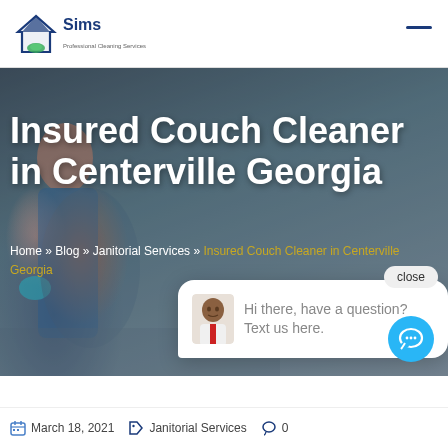[Figure (logo): Sims professional cleaning services logo with house and leaf icon]
Insured Couch Cleaner in Centerville Georgia
Home » Blog » Janitorial Services » Insured Couch Cleaner in Centerville Georgia
[Figure (screenshot): Chat popup with avatar saying: Hi there, have a question? Text us here.]
March 18, 2021   Janitorial Services   0